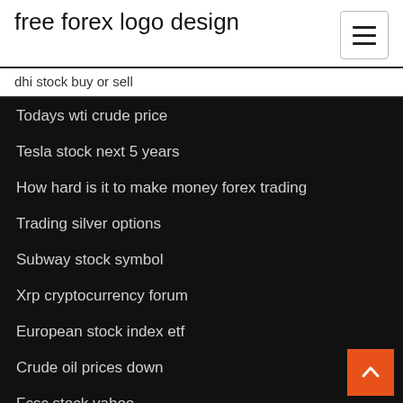free forex logo design
dhi stock buy or sell
Todays wti crude price
Tesla stock next 5 years
How hard is it to make money forex trading
Trading silver options
Subway stock symbol
Xrp cryptocurrency forum
European stock index etf
Crude oil prices down
Fcsc stock yahoo
Fx 매매